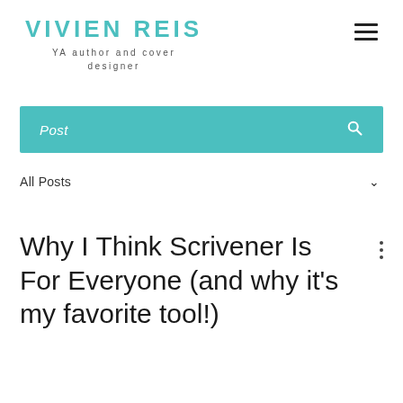VIVIEN REIS
YA author and cover designer
Post
All Posts
Why I Think Scrivener Is For Everyone (and why it's my favorite tool!)